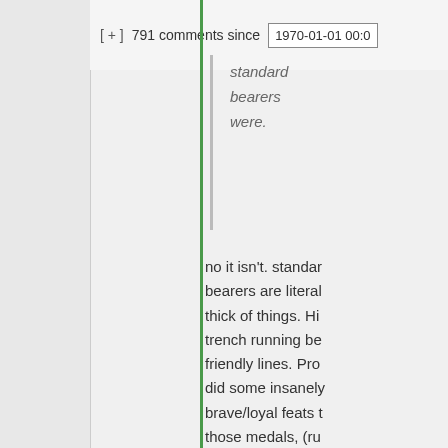[ + ]  791 comments since  1970-01-01 00:0
standard bearers were.
no it isn't. standard bearers are literally in the thick of things. Hit a trench running between friendly lines. Pro did some insanely brave/loyal feats to those medals, (ru through area getti shelled maybe?) b not just soldiers w do insanely brave in a war, so can s messengers, resi